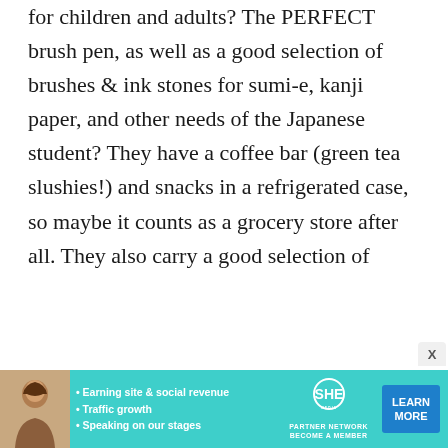for children and adults? The PERFECT brush pen, as well as a good selection of brushes & ink stones for sumi-e, kanji paper, and other needs of the Japanese student? They have a coffee bar (green tea slushies!) and snacks in a refrigerated case, so maybe it counts as a grocery store after all. They also carry a good selection of
[Figure (infographic): Advertisement banner for SHE Partner Network showing a woman photo, bullet points (Earning site & social revenue, Traffic growth, Speaking on our stages), SHE logo, and a Learn More button]